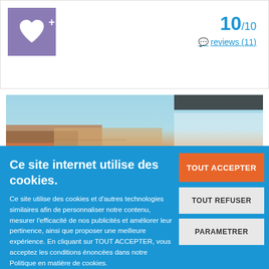[Figure (screenshot): Purple/violet square box with a white heart icon and a plus sign in the top right corner of the heart box]
10/10
reviews (11)
[Figure (photo): Partial photo showing interior or exterior scene with blue sky/ceiling and wooden/warm toned elements]
Ce site internet utilise des cookies.
Ce site utilise des cookies et d'autres technologies similaires afin de personnaliser notre contenu, mesurer l'efficacité de nos publicités et améliorer leur pertinence, ainsi que proposer une meilleure expérience. En cliquant sur TOUT ACCEPTER, vous acceptez les conditions énoncées dans notre Politique en matière de cookies.
Pour plus d'informations concernant les modalités d'utilisation des cookies, consultez notre politique de confidentialité.
Pour modifier vos préférences, vous devez mettre paramétrer vos préférences de cookies.
TOUT ACCEPTER
TOUT REFUSER
PARAMETRER